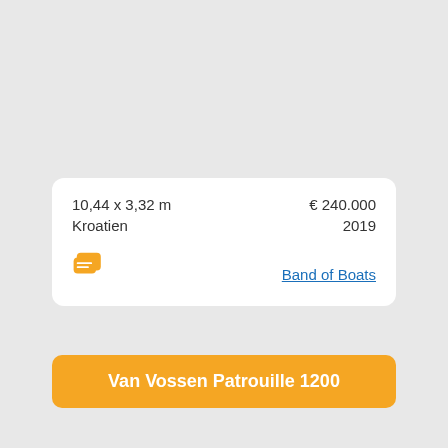10,44 x 3,32 m   € 240.000
Kroatien   2019
[Figure (illustration): Orange chat/message bubble icon]
Band of Boats
Van Vossen Patrouille 1200